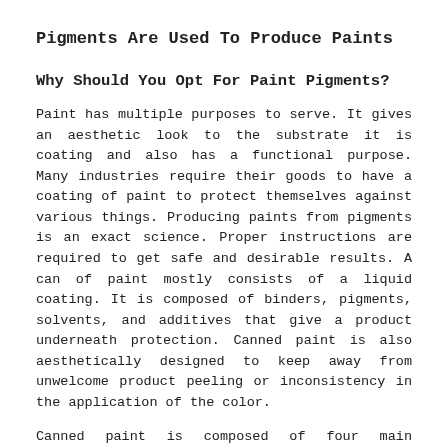Pigments Are Used To Produce Paints
Why Should You Opt For Paint Pigments?
Paint has multiple purposes to serve. It gives an aesthetic look to the substrate it is coating and also has a functional purpose. Many industries require their goods to have a coating of paint to protect themselves against various things. Producing paints from pigments is an exact science. Proper instructions are required to get safe and desirable results. A can of paint mostly consists of a liquid coating. It is composed of binders, pigments, solvents, and additives that give a product underneath protection. Canned paint is also aesthetically designed to keep away from unwelcome product peeling or inconsistency in the application of the color.
Canned paint is composed of four main components that add to its attributes. At first, it has pigments that add texture and color to solid components. They also enhance the paint's durability and deliver extra protection to surfaces. Binders in a liquid